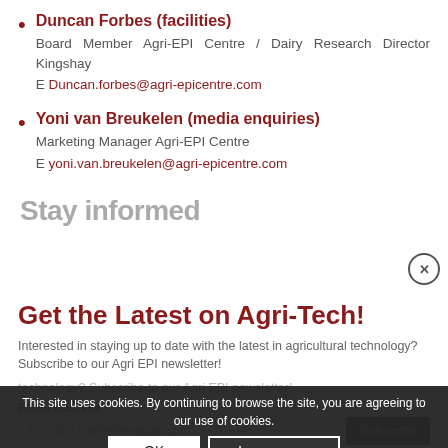Duncan Forbes (facilities) — Board Member Agri-EPI Centre / Dairy Research Director Kingshay. E Duncan.forbes@agri-epicentre.com
Yoni van Breukelen (media enquiries) — Marketing Manager Agri-EPI Centre. E yoni.van.breukelen@agri-epicentre.com
Stay informed
Get the Latest on Agri-Tech!
Interested in staying up to date with the latest in agricultural technology? Subscribe to our Agri EPI newsletter!
This site uses cookies. By continuing to browse the site, you are agreeing to our use of cookies.